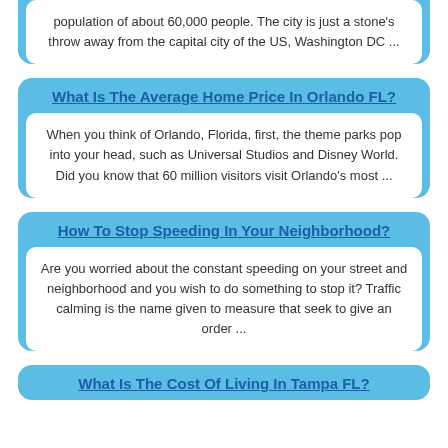population of about 60,000 people. The city is just a stone's throw away from the capital city of the US, Washington DC ...
What Is The Average Home Price In Orlando FL?
When you think of Orlando, Florida, first, the theme parks pop into your head, such as Universal Studios and Disney World. Did you know that 60 million visitors visit Orlando's most ...
How To Stop Speeding In Your Neighborhood?
Are you worried about the constant speeding on your street and neighborhood and you wish to do something to stop it? Traffic calming is the name given to measure that seek to give an order ...
What Is The Cost Of Living In Tampa FL?